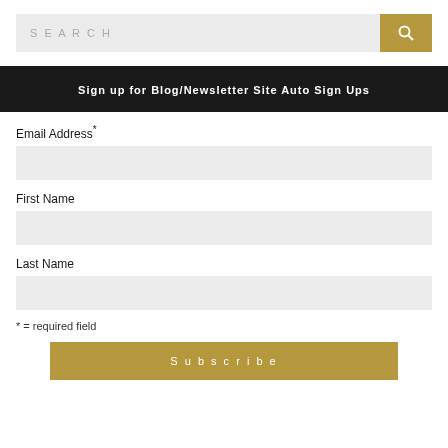[Figure (screenshot): Search bar with text input field showing placeholder 'SEARCH' and a gold/tan search button with magnifying glass icon]
Sign up for Blog/Newsletter Site Auto Sign Ups
Email Address*
First Name
Last Name
* = required field
Subscribe